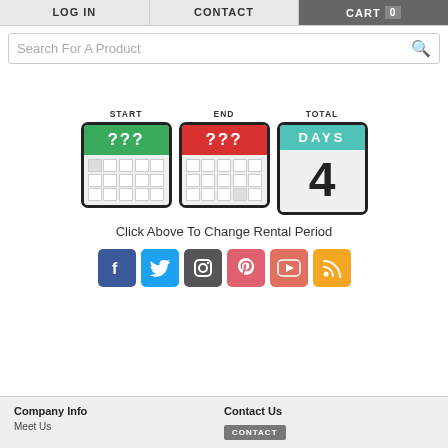LOG IN  |  CONTACT  |  CART 0
[Figure (screenshot): Search bar with placeholder text 'Search For A Product' and a search icon]
[Figure (infographic): Three calendar widgets labeled START (green header, ???), END (red header, ???), and TOTAL (teal header, DAYS with number 4)]
Click Above To Change Rental Period
[Figure (infographic): Social media icons row: Facebook, Twitter, Instagram, Pinterest, YouTube, RSS]
Company Info | Contact Us | Meet Us